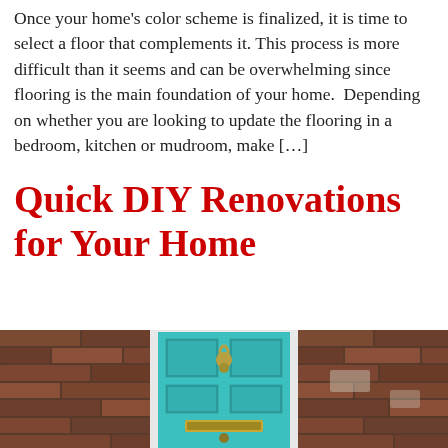Once your home's color scheme is finalized, it is time to select a floor that complements it. This process is more difficult than it seems and can be overwhelming since flooring is the main foundation of your home.  Depending on whether you are looking to update the flooring in a bedroom, kitchen or mudroom, make […]
Quick DIY Renovations for Your Home
[Figure (photo): A teal/turquoise painted front door with brass door knocker and mail slot, flanked by red brick walls on both sides]